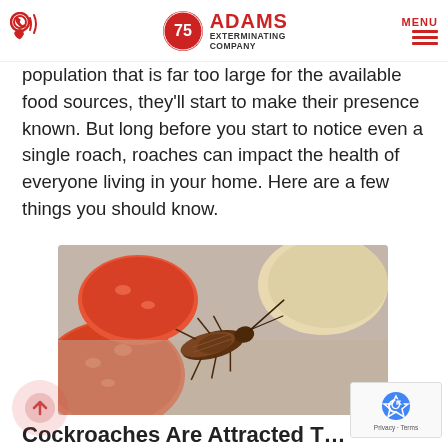Adams Exterminating Company - phone icon and MENU
population that is far too large for the available food sources, they'll start to make their presence known. But long before you start to notice even a single roach, roaches can impact the health of everyone living in your home. Here are a few things you should know.
[Figure (photo): Close-up photo of a cockroach on a surface next to sliced tomatoes and other food items]
Cockroaches Are Attracted T…